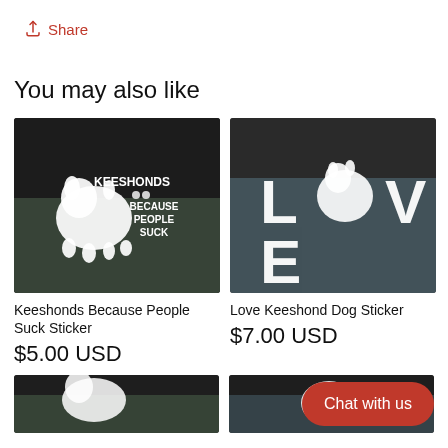Share
You may also like
[Figure (photo): Car window sticker showing a Keeshond dog silhouette with text 'KEESHONDS BECAUSE PEOPLE SUCK' and paw prints]
Keeshonds Because People Suck Sticker
$5.00 USD
[Figure (photo): Car window sticker showing 'LOVE' text with a Keeshond dog silhouette replacing the 'O']
Love Keeshond Dog Sticker
$7.00 USD
[Figure (photo): Partial car window sticker, bottom row left]
[Figure (photo): Partial car window sticker, bottom row right]
Chat with us